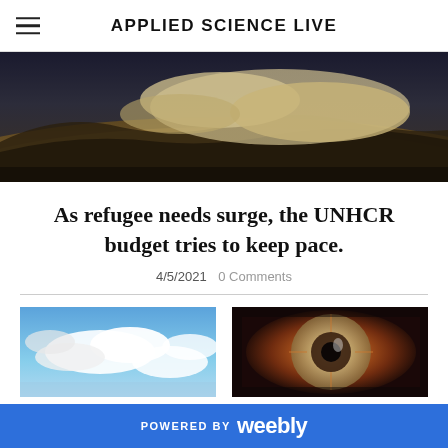APPLIED SCIENCE LIVE
[Figure (photo): Aerial/satellite view of earth surface with clouds and desert terrain]
As refugee needs surge, the UNHCR budget tries to keep pace.
4/5/2021  0 Comments
[Figure (photo): Blue sky with clouds]
[Figure (photo): Close-up abstract macro image with orange and brown tones]
POWERED BY weebly